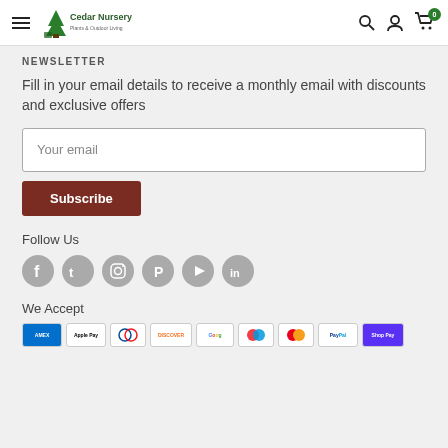Cedar Nursery — Plants & Outdoor Living
NEWSLETTER
Fill in your email details to receive a monthly email with discounts and exclusive offers
Your email
Subscribe
Follow Us
[Figure (infographic): Six social media icons (Facebook, Twitter, Instagram, Pinterest, YouTube, LinkedIn) displayed as grey circles]
We Accept
[Figure (infographic): Payment method icons: American Express, Apple Pay, Diners Club, Discover, Google Pay, Maestro, Mastercard, PayPal, Shop Pay]